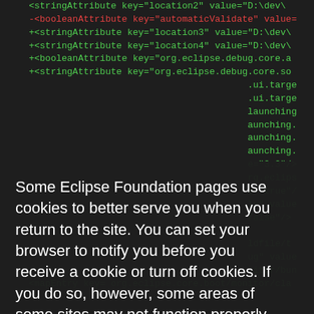[Figure (screenshot): Screenshot of a code diff/view in a dark IDE or web editor showing XML attribute lines in green (additions) and red (deletions), partially obscured by a cookie consent overlay modal.]
Some Eclipse Foundation pages use cookies to better serve you when you return to the site. You can set your browser to notify you before you receive a cookie or turn off cookies. If you do so, however, some areas of some sites may not function properly. To read Eclipse Foundation Privacy Policy click here.
Decline
Allow cookies